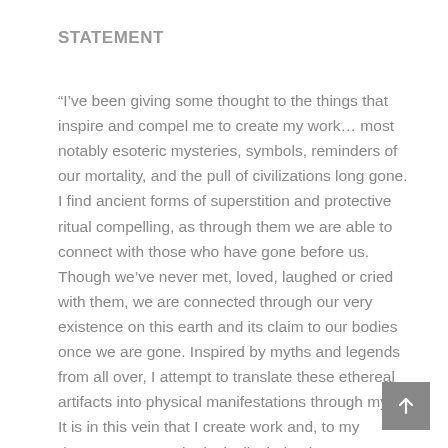STATEMENT
“I’ve been giving some thought to the things that inspire and compel me to create my work… most notably esoteric mysteries, symbols, reminders of our mortality, and the pull of civilizations long gone. I find ancient forms of superstition and protective ritual compelling, as through them we are able to connect with those who have gone before us. Though we’ve never met, loved, laughed or cried with them, we are connected through our very existence on this earth and its claim to our bodies once we are gone. Inspired by myths and legends from all over, I attempt to translate these ethereal artifacts into physical manifestations through my art. It is in this vein that I create work and, to my deepest core, am intrinsically tied to it.”